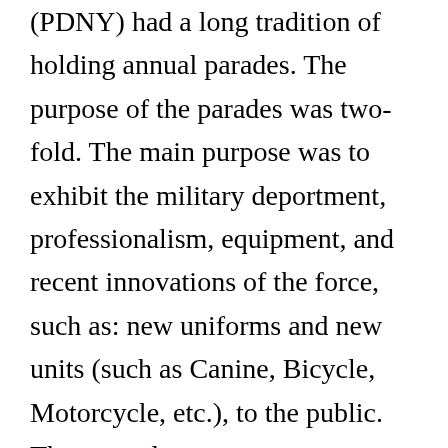(PDNY) had a long tradition of holding annual parades. The purpose of the parades was two-fold. The main purpose was to exhibit the military deportment, professionalism, equipment, and recent innovations of the force, such as: new uniforms and new units (such as Canine, Bicycle, Motorcycle, etc.), to the public.  The second purpose was to present medals to the men who earned them for acts of heroism and valor performed the prior year. Medals earned by officers killed in the line of duty were presented to surviving relatives. The public loved the parades. The tradition began in approximately 1857 and ended in approximately 1934. Annually, large